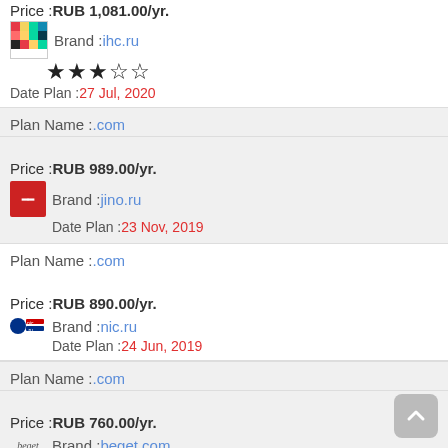Price :RUB 1,081.00/yr.
Brand :ihc.ru
★★★☆☆
Date Plan :27 Jul, 2020
Plan Name :.com
Price :RUB 989.00/yr.
Brand :jino.ru
Date Plan :23 Nov, 2019
Plan Name :.com
Price :RUB 890.00/yr.
Brand :nic.ru
Date Plan :24 Jun, 2019
Plan Name :.com
Price :RUB 760.00/yr.
Brand :beget.com
Date Plan :24 Jun, 2019